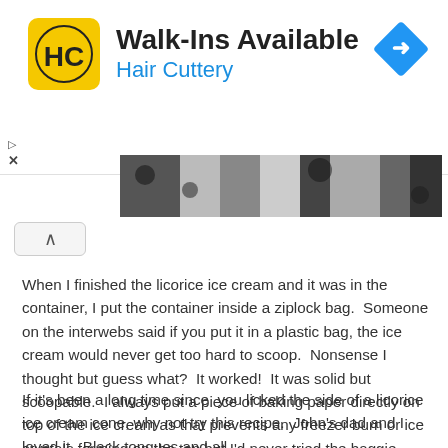[Figure (logo): Hair Cuttery advertisement banner with HC logo, 'Walk-Ins Available' heading, 'Hair Cuttery' subtitle in blue, and a blue diamond direction arrow icon on the right]
[Figure (photo): Partial image strip showing a close-up photo, dark and light tones visible]
When I finished the licorice ice cream and it was in the container, I put the container inside a ziplock bag.  Someone on the interwebs said if you put it in a plastic bag, the ice cream would never get too hard to scoop.  Nonsense I thought but guess what?  It worked!  It was solid but scoopable.  I always put a piece of baking paper directly on top of the ice cream as that prevents any freezer burn or ice crystals forming on the top but I'd never tried the baggie idea.  Brilliant.
If it's been a long time since  you licked the side of a licorice ice cream cone, why not try this recipe.  John's dad and I loved it.  Black tongues and all.